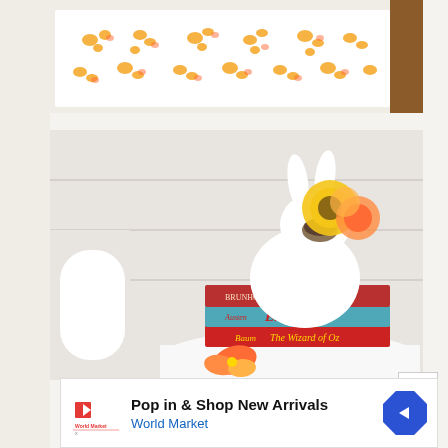[Figure (photo): Close-up photo of a white furniture piece (changing table or dresser) with a white and yellow floral patterned fabric/sheet on top, with wood flooring visible in the background]
[Figure (photo): A white ceramic rabbit figurine/vase holding yellow and orange ranunculus flowers, sitting on top of three stacked books (The Secret Garden, Emma, The Wizard of Oz) on a white round side table, with an orange flower and a white piece of furniture visible to the left]
[Figure (other): Advertisement banner for World Market: 'Pop in & Shop New Arrivals' with World Market logo and navigation arrow icon]